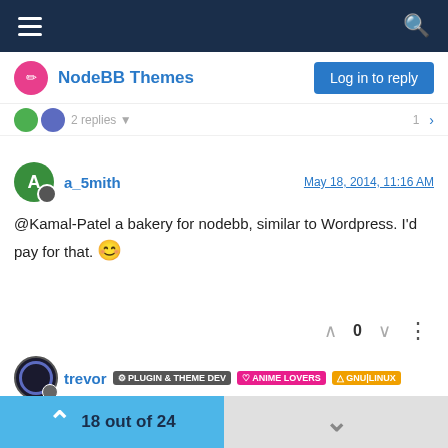NodeBB Themes
a_5mith  May 18, 2014, 11:16 AM
@Kamal-Patel a bakery for nodebb, similar to Wordpress. I'd pay for that. 😊
trevor  PLUGIN & THEME DEV  ANIME LOVERS  GNU|LINUX  May 18, 2014, 3:07 PM
@Kamal-Patel said:
Not to be a party pooper, but I liked your old theme on Convoe better
18 out of 24